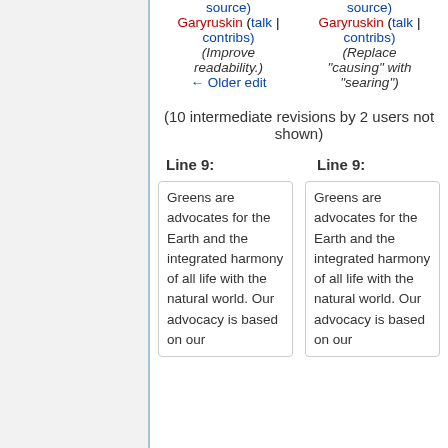source) Garyruskin (talk | contribs) (Improve readability.) ← Older edit | source) Garyruskin (talk | contribs) (Replace "causing" with "searing")
(10 intermediate revisions by 2 users not shown)
Line 9: | Line 9:
Greens are advocates for the Earth and the integrated harmony of all life with the natural world. Our advocacy is based on our